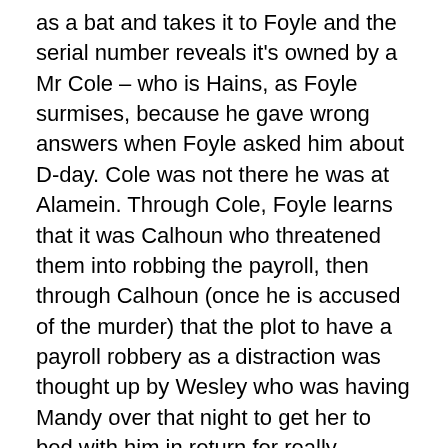as a bat and takes it to Foyle and the serial number reveals it's owned by a Mr Cole – who is Hains, as Foyle surmises, because he gave wrong answers when Foyle asked him about D-day. Cole was not there he was at Alamein. Through Cole, Foyle learns that it was Calhoun who threatened them into robbing the payroll, then through Calhoun (once he is accused of the murder) that the plot to have a payroll robbery as a distraction was thought up by Wesley who was having Mandy over that night to get her to bed with him in return for really allowing her a Visa to the states. Wesley gets angry at Mandy for refusing to go back to bed, she says she overheard the plot, and he strangled her.
The last scene of the murder-violent robbery mysteries is Foyle walking up to Wesker playing basketball and accusing him of the murder from all the evidence and